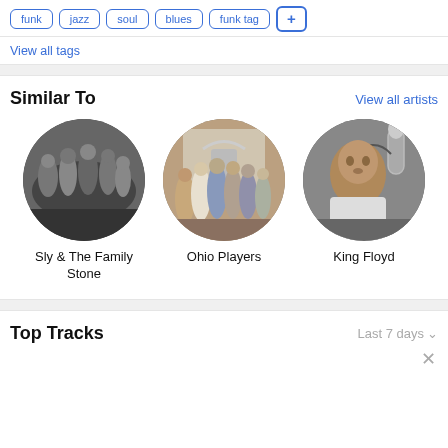funk
jazz
soul
blues
funk tag
View all tags
Similar To
View all artists
[Figure (photo): Black and white photo of Sly & The Family Stone, a group of people standing outdoors]
Sly & The Family Stone
[Figure (photo): Color photo of Ohio Players, a large group of musicians posed in front of a building]
Ohio Players
[Figure (photo): Black and white photo of King Floyd, a young man singing into a microphone with headphones]
King Floyd
Top Tracks
Last 7 days